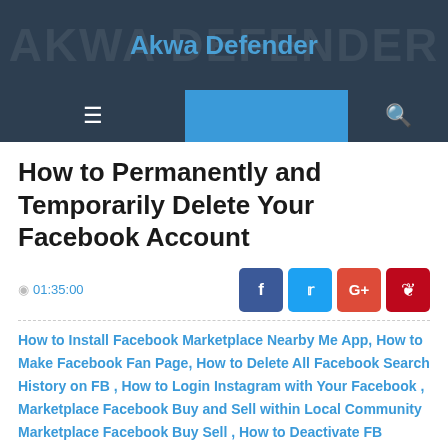Akwa Defender
How to Permanently and Temporarily Delete Your Facebook Account
01:35:00
How to Install Facebook Marketplace Nearby Me App , How to Make Facebook Fan Page , How to Delete All Facebook Search History on FB , How to Login Instagram with Your Facebook , Marketplace Facebook Buy and Sell within Local Community Marketplace Facebook Buy Sell , How to Deactivate FB